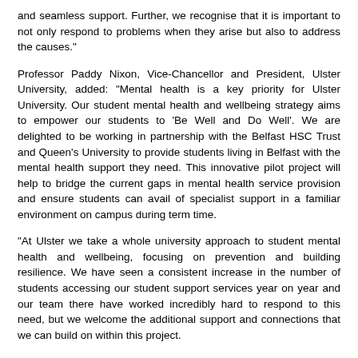and seamless support. Further, we recognise that it is important to not only respond to problems when they arise but also to address the causes."
Professor Paddy Nixon, Vice-Chancellor and President, Ulster University, added: "Mental health is a key priority for Ulster University. Our student mental health and wellbeing strategy aims to empower our students to 'Be Well and Do Well'. We are delighted to be working in partnership with the Belfast HSC Trust and Queen's University to provide students living in Belfast with the mental health support they need. This innovative pilot project will help to bridge the current gaps in mental health service provision and ensure students can avail of specialist support in a familiar environment on campus during term time.
"At Ulster we take a whole university approach to student mental health and wellbeing, focusing on prevention and building resilience. We have seen a consistent increase in the number of students accessing our student support services year on year and our team there have worked incredibly hard to respond to this need, but we welcome the additional support and connections that we can build on within this project.